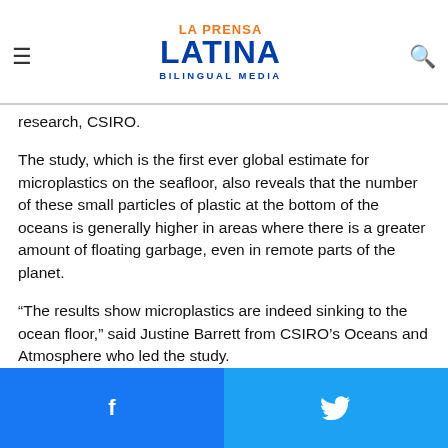La Prensa Latina Bilingual Media
research, CSIRO.
The study, which is the first ever global estimate for microplastics on the seafloor, also reveals that the number of these small particles of plastic at the bottom of the oceans is generally higher in areas where there is a greater amount of floating garbage, even in remote parts of the planet.
“The results show microplastics are indeed sinking to the ocean floor,” said Justine Barrett from CSIRO’s Oceans and Atmosphere who led the study.
Facebook share | Twitter share